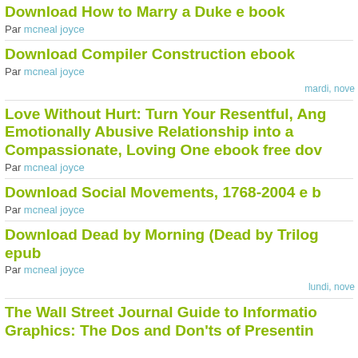Download How to Marry a Duke e book
Par mcneal joyce
Download Compiler Construction ebook
Par mcneal joyce
mardi, nove
Love Without Hurt: Turn Your Resentful, Ang Emotionally Abusive Relationship into a Compassionate, Loving One ebook free dow
Par mcneal joyce
Download Social Movements, 1768-2004 e b
Par mcneal joyce
Download Dead by Morning (Dead by Trilog epub
Par mcneal joyce
lundi, nove
The Wall Street Journal Guide to Information Graphics: The Dos and Don'ts of Presenting